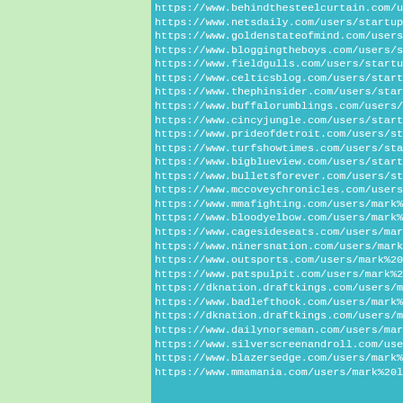https://www.behindthesteelcurtain.com/users/s...
https://www.netsdaily.com/users/startupindiam...
https://www.goldenstateofmind.com/users/start...
https://www.bloggingtheboys.com/users/startup...
https://www.fieldgulls.com/users/startupindia...
https://www.celticsblog.com/users/startupindi...
https://www.thephinsider.com/users/startupind...
https://www.buffalorumblings.com/users/starto...
https://www.cincyjungle.com/users/startupindi...
https://www.prideofdetroit.com/users/startupi...
https://www.turfshowtimes.com/users/startupin...
https://www.bigblueview.com/users/startupindi...
https://www.bulletsforever.com/users/startupi...
https://www.mccoveychronicles.com/users/start...
https://www.mmafighting.com/users/mark%20lamb...
https://www.bloodyelbow.com/users/mark%20lamb...
https://www.cagesideseats.com/users/mark%201a...
https://www.ninersnation.com/users/mark%20lam...
https://www.outsports.com/users/mark%20lamber...
https://www.patspulpit.com/users/mark%20lambe...
https://dknation.draftkings.com/users/mark%20...
https://www.badlefthook.com/users/mark%20lamb...
https://dknation.draftkings.com/users/mark%20...
https://www.dailynorseman.com/users/mark%201a...
https://www.silverscreenandroll.com/users/mar...
https://www.blazersedge.com/users/mark%20lamb...
https://www.mmamania.com/users/mark%20lam...